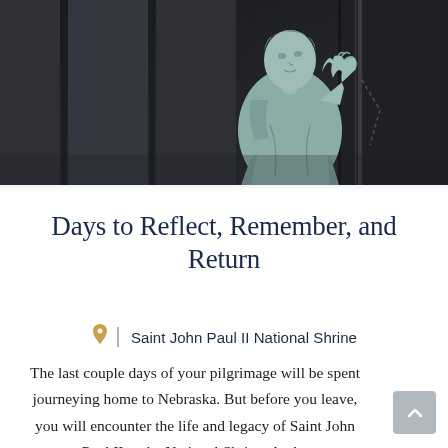[Figure (photo): Black and white photograph of a bronze statue of Saint John Paul II with raised hand blessing, against a dark stone building background]
Days to Reflect, Remember, and Return
Saint John Paul II National Shrine
The last couple days of your pilgrimage will be spent journeying home to Nebraska. But before you leave, you will encounter the life and legacy of Saint John Paul II at the National Shrine. At the